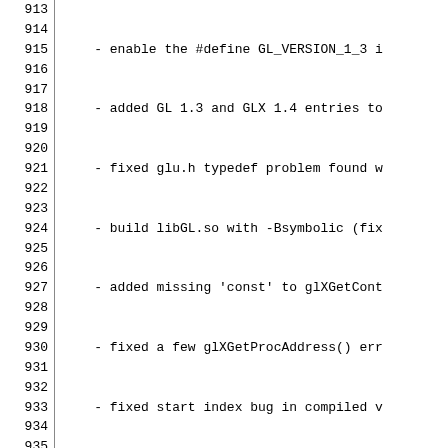913    - enable the #define GL_VERSION_1_3 i
914    - added GL 1.3 and GLX 1.4 entries to
915    - fixed glu.h typedef problem found w
916    - build libGL.so with -Bsymbolic (fix
917    - added missing 'const' to glXGetCont
918    - fixed a few glXGetProcAddress() err
919    - fixed start index bug in compiled v
920    - fixed compilation problems in src/S
921    - fixed triangle strip "parity" bug f
922    - use glXGetProcAddressARB in GLUT to
923    - provoking vertex of flat-shaded, co
924    - fixed a few display list bugs (GLUT
925    - glTexParameter didn't flush the ver
926    - feedback attributes for glDraw/Copy
927    - fixed bug in normal length caching
928    - fixed separate_specular color bug f
929
930
931  4.0.2  April 2, 2002
932       New:
933            - New DOS (DJGPP) driver written by D
934            - New driver interface functions for
935            - GL_RENDERER string returns "Mesa Of
936              if using deep color channels
937            - latest GL/glext.h and GL/glxext.h h
938       Bug fixes:
939            - GL_BLEND with non-black texture env
940            - GL_REPLACE with GL_RGB texture form
941            - glTexEnviv( pname != GL_TEXTURE_ENV
942            - glReadPixels was sometimes mistaken